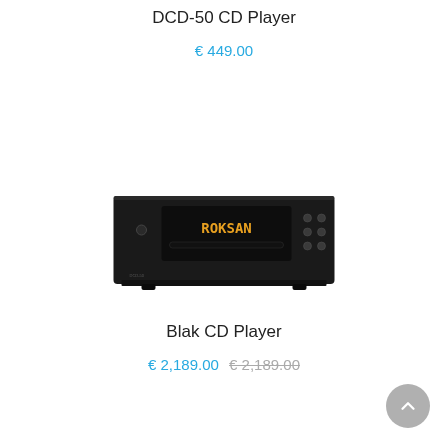DCD-50 CD Player
€ 449.00
[Figure (photo): Front view of a Roksan Blak CD Player, black rectangular unit with amber display showing 'ROKSAN' text and CD slot in center, control buttons on right side]
Blak CD Player
€ 2,189.00  € 2,189.00